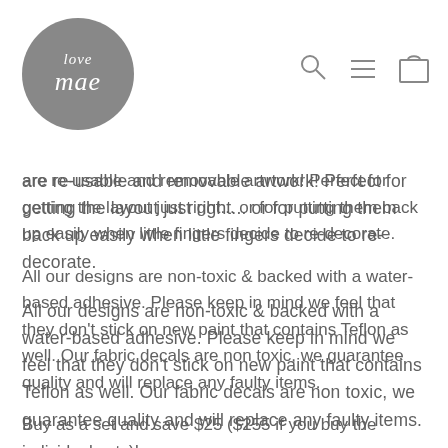love mae — navigation header with logo and icons
are re-usable and removable artwork! Perfect for getting the layout just right... or for putting them back up easily when little fingers decide to re-decorate.
All our designs are non-toxic & backed with a water-based adhesive. Please keep in mind we feel that they don't stick on new paint that contains Teflon as well. Our fabric decals are non toxic, we guarantee quality and will replace any faulty items.
Buy as a set and save $25 ($255 if you buy the individual sets)!
Product Specifications: